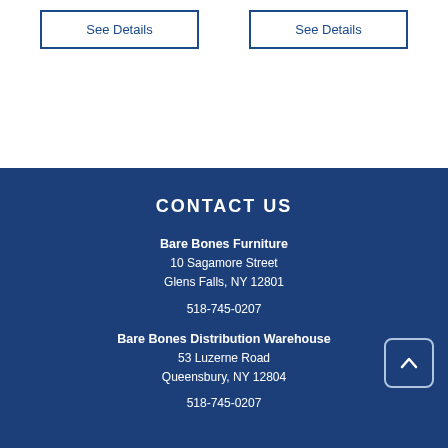See Details
See Details
CONTACT US
Bare Bones Furniture
10 Sagamore Street
Glens Falls, NY 12801
518-745-0207
Bare Bones Distribution Warehouse
53 Luzerne Road
Queensbury, NY 12804
518-745-0207